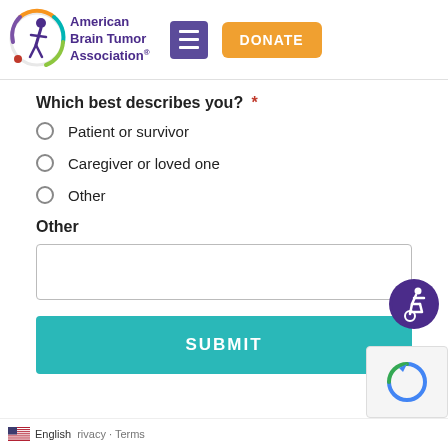American Brain Tumor Association
Which best describes you? *
Patient or survivor
Caregiver or loved one
Other
Other
(text input field)
SUBMIT
English